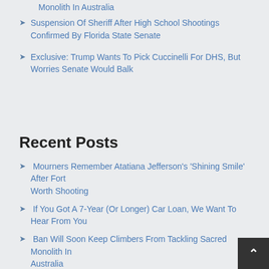Monolith In Australia
Suspension Of Sheriff After High School Shootings Confirmed By Florida State Senate
Exclusive: Trump Wants To Pick Cuccinelli For DHS, But Worries Senate Would Balk
Recent Posts
Mourners Remember Atatiana Jefferson's 'Shining Smile' After Fort Worth Shooting
If You Got A 7-Year (Or Longer) Car Loan, We Want To Hear From You
Ban Will Soon Keep Climbers From Tackling Sacred Monolith In Australia
Suspension Of Sheriff After High School Shootings Confirmed By Florida State Senate